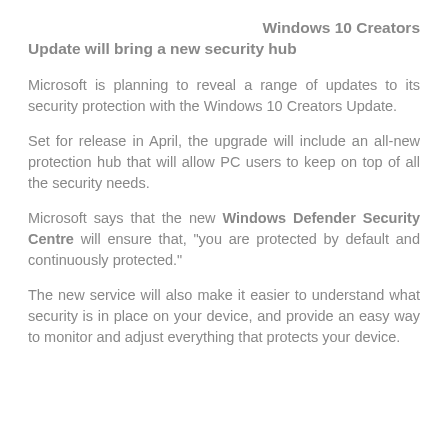Windows 10 Creators Update will bring a new security hub
Microsoft is planning to reveal a range of updates to its security protection with the Windows 10 Creators Update.
Set for release in April, the upgrade will include an all-new protection hub that will allow PC users to keep on top of all the security needs.
Microsoft says that the new Windows Defender Security Centre will ensure that, "you are protected by default and continuously protected."
The new service will also make it easier to understand what security is in place on your device, and provide an easy way to monitor and adjust everything that protects your device.